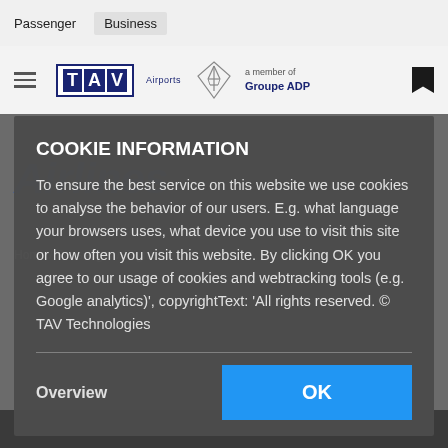Passenger  Business
[Figure (logo): TAV Airports logo with diamond Eiffel Tower icon and 'a member of Groupe ADP' text]
Airlines
Home / Passenger / Flights
COOKIE INFORMATION
To ensure the best service on this website we use cookies to analyse the behavior of our users. E.g. what language your browsers uses, what device you use to visit this site or how often you visit this website. By clicking OK you agree to our usage of cookies and webtracking tools (e.g. Google analytics)', copyrightText: 'All rights reserved. © TAV Technologies
Overview
OK